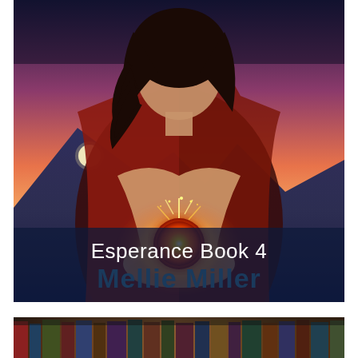[Figure (illustration): Book cover for 'Esperance Book 4' by Mellie Miller. A young woman with dark curly hair wearing a red cloak holds a glowing orange orb/apple in her outstretched hands. Magical sparks and flames emanate from the object. Background shows a dramatic sunset sky in pink/orange/purple hues over dark blue mountains. Text overlay reads 'Esperance Book 4' in white and 'Mellie Miller' in dark teal/navy bold text.]
[Figure (photo): Partial view of a second book or image at the bottom of the page, showing what appears to be a library or bookshelf scene, partially cropped.]